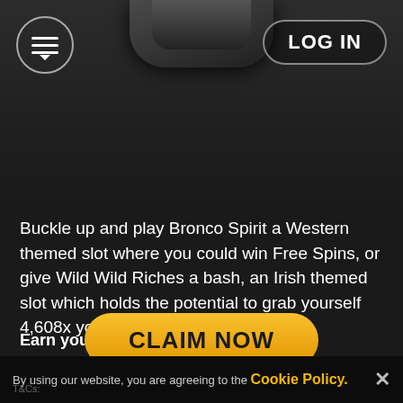[Figure (screenshot): Dark themed casino website mobile screenshot showing slot machine roller graphic at top with menu button and LOG IN button]
Buckle up and play Bronco Spirit a Western themed slot where you could win Free Spins, or give Wild Wild Riches a bash, an Irish themed slot which holds the potential to grab yourself 4,608x your bet!
Earn your Trophies Now!
CLAIM NOW
By using our website, you are agreeing to the Cookie Policy.
T&Cs: